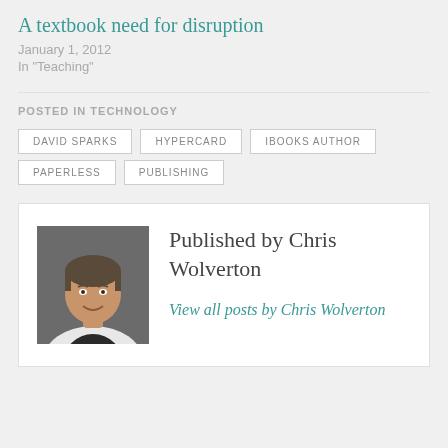A textbook need for disruption
January 1, 2012
In "Teaching"
POSTED IN TECHNOLOGY
DAVID SPARKS
HYPERCARD
IBOOKS AUTHOR
PAPERLESS
PUBLISHING
[Figure (photo): Headshot of Chris Wolverton, a middle-aged man in a white lab coat smiling at the camera]
Published by Chris Wolverton
View all posts by Chris Wolverton